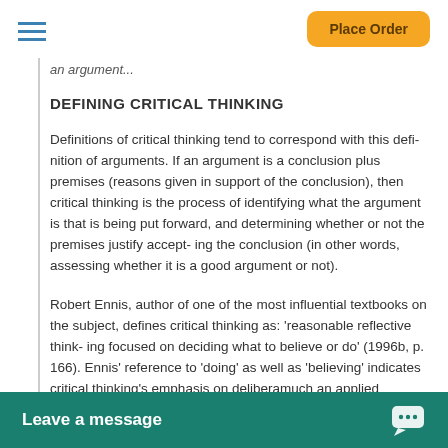Place Order
an argument...
DEFINING CRITICAL THINKING
Definitions of critical thinking tend to correspond with this defi- nition of arguments. If an argument is a conclusion plus premises (reasons given in support of the conclusion), then critical thinking is the process of identifying what the argument is that is being put forward, and determining whether or not the premises justify accept- ing the conclusion (in other words, assessing whether it is a good argument or not).
Robert Ennis, author of one of the most influential textbooks on the subject, defines critical thinking as: 'reasonable reflective think- ing focused on deciding what to believe or do' (1996b, p. 166). Ennis' reference to 'doing' as well as 'believing' indicates critical thinking's emphasis on delibera- much an applied area knowledge and skills
Leave a message